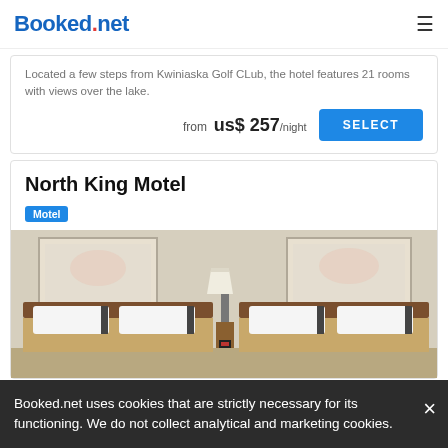Booked.net
Located a few steps from Kwiniaska Golf CLub, the hotel features 21 rooms with views over the lake.
from us$ 257/night
North King Motel
Motel
[Figure (photo): Hotel room with two beds, white pillows, wooden headboards, a lamp on the nightstand between the beds, and framed artwork on the wall.]
Booked.net uses cookies that are strictly necessary for its functioning. We do not collect analytical and marketing cookies.